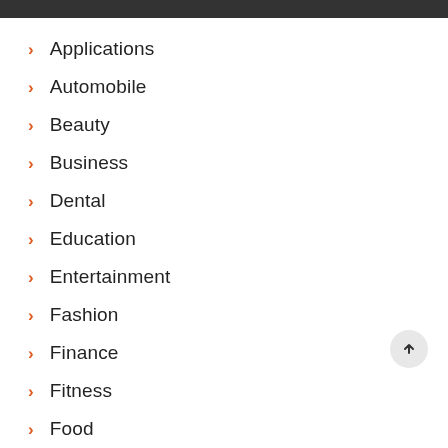Applications
Automobile
Beauty
Business
Dental
Education
Entertainment
Fashion
Finance
Fitness
Food